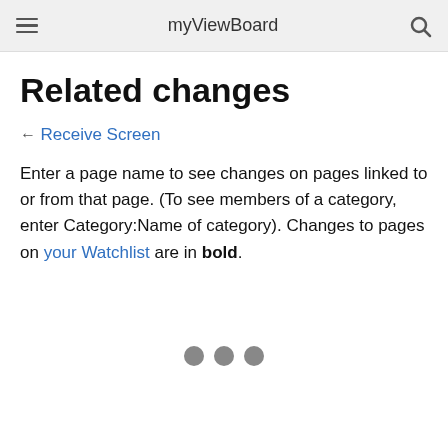myViewBoard
Related changes
← Receive Screen
Enter a page name to see changes on pages linked to or from that page. (To see members of a category, enter Category:Name of category). Changes to pages on your Watchlist are in bold.
[Figure (other): Three gray dots indicating loading or pagination]